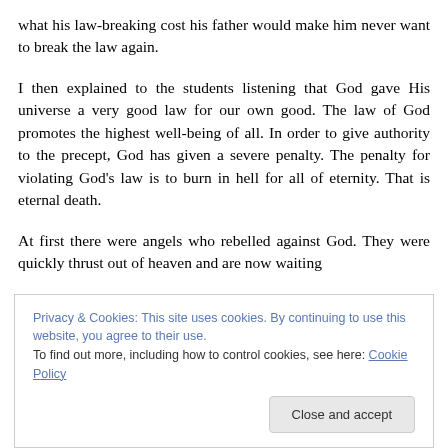what his law-breaking cost his father would make him never want to break the law again.
I then explained to the students listening that God gave His universe a very good law for our own good. The law of God promotes the highest well-being of all. In order to give authority to the precept, God has given a severe penalty. The penalty for violating God’s law is to burn in hell for all of eternity. That is eternal death.
At first there were angels who rebelled against God. They were quickly thrust out of heaven and are now waiting
Privacy & Cookies: This site uses cookies. By continuing to use this website, you agree to their use.
To find out more, including how to control cookies, see here: Cookie Policy
Close and accept